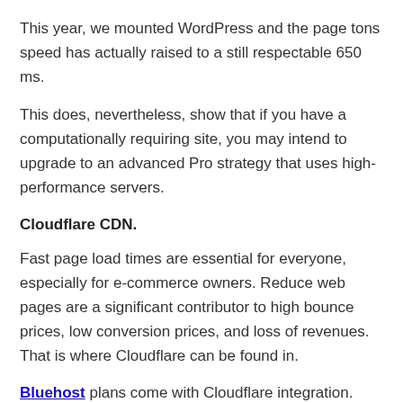This year, we mounted WordPress and the page tons speed has actually raised to a still respectable 650 ms.
This does, nevertheless, show that if you have a computationally requiring site, you may intend to upgrade to an advanced Pro strategy that uses high-performance servers.
Cloudflare CDN.
Fast page load times are essential for everyone, especially for e-commerce owners. Reduce web pages are a significant contributor to high bounce prices, low conversion prices, and loss of revenues. That is where Cloudflare can be found in.
Bluehost plans come with Cloudflare integration. Cloudflare is a content distribution network (CDN), or a network of servers that keep cached versions of your site.